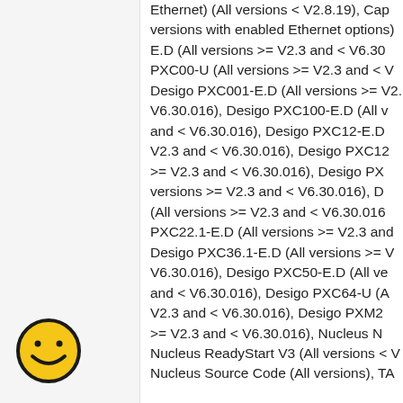Ethernet) (All versions < V2.8.19), Cap versions with enabled Ethernet options) E.D (All versions >= V2.3 and < V6.30 PXC00-U (All versions >= V2.3 and < V Desigo PXC001-E.D (All versions >= V2 V6.30.016), Desigo PXC100-E.D (All v and < V6.30.016), Desigo PXC12-E.D V2.3 and < V6.30.016), Desigo PXC12 >= V2.3 and < V6.30.016), Desigo PX versions >= V2.3 and < V6.30.016), D (All versions >= V2.3 and < V6.30.016 PXC22.1-E.D (All versions >= V2.3 and Desigo PXC36.1-E.D (All versions >= V V6.30.016), Desigo PXC50-E.D (All ve and < V6.30.016), Desigo PXC64-U (A V2.3 and < V6.30.016), Desigo PXM2 >= V2.3 and < V6.30.016), Nucleus N Nucleus ReadyStart V3 (All versions < V Nucleus Source Code (All versions), TA
[Figure (illustration): Smiley face emoji icon — yellow circle with black outline, simple smile and dot eyes]